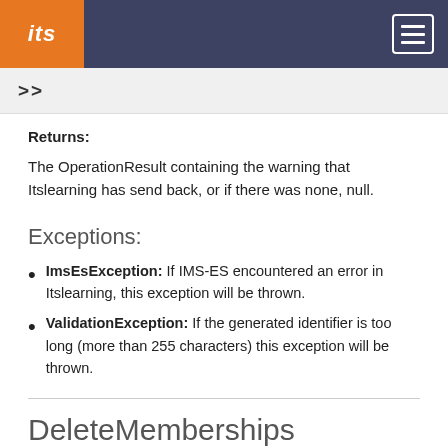its
Returns:
The OperationResult containing the warning that Itslearning has send back, or if there was none, null.
Exceptions:
ImsEsException: If IMS-ES encountered an error in Itslearning, this exception will be thrown.
ValidationException: If the generated identifier is too long (more than 255 characters) this exception will be thrown.
DeleteMemberships
This function deletes the given Memberships. In the MembershipPairs the role doesn't have to be specified (it is not